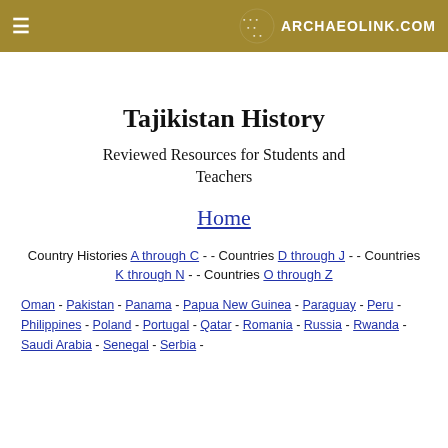≡   ARCHAEOLINK.COM
Tajikistan History
Reviewed Resources for Students and Teachers
Home
Country Histories A through C - - Countries D through J  - - Countries K through N - - Countries O through Z
Oman - Pakistan - Panama - Papua New Guinea - Paraguay - Peru  - Philippines  - Poland  - Portugal - Qatar - Romania - Russia - Rwanda - Saudi Arabia  - Senegal  - Serbia  -